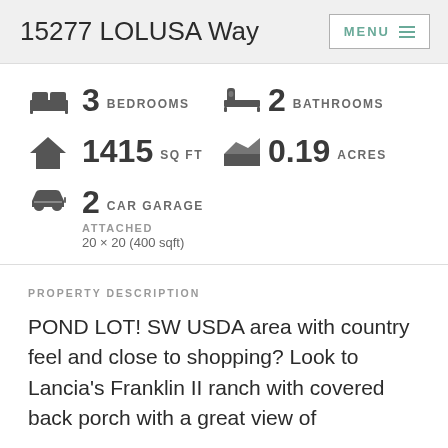15277 LOLUSA Way
3 BEDROOMS
2 BATHROOMS
1415 SQ FT
0.19 ACRES
2 CAR GARAGE
ATTACHED
20 × 20 (400 sqft)
PROPERTY DESCRIPTION
POND LOT! SW USDA area with country feel and close to shopping? Look to Lancia's Franklin II ranch with covered back porch with a great view of